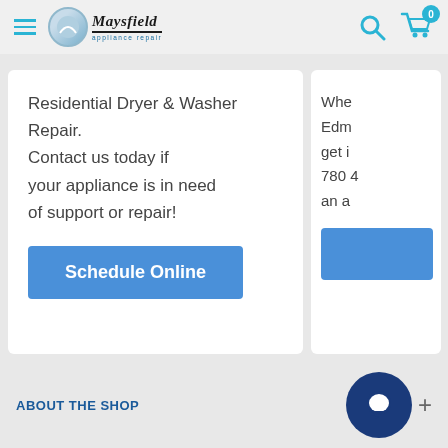[Figure (logo): Maysfield Appliance Repair logo with hamburger menu icon on the left and search/cart icons on the right]
Residential Dryer & Washer Repair. Contact us today if your appliance is in need of support or repair!
Schedule Online
Whe... Edm... get i... 780 ... an a...
ABOUT THE SHOP
[Figure (illustration): Dark blue circular chat widget with white chat bubble icon and a plus sign]